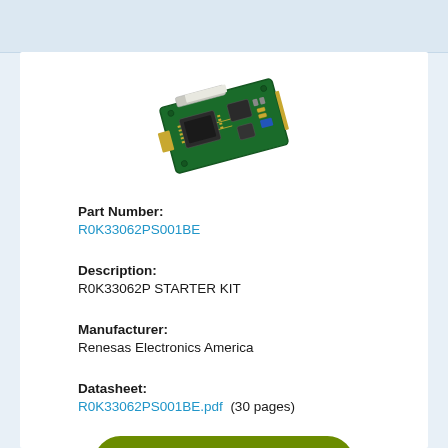[Figure (photo): Photo of R0K33062PS001BE starter kit PCB board (green circuit board with chips and connectors)]
Part Number:
R0K33062PS001BE
Description:
R0K33062P STARTER KIT
Manufacturer:
Renesas Electronics America
Datasheet:
R0K33062PS001BE.pdf  (30 pages)